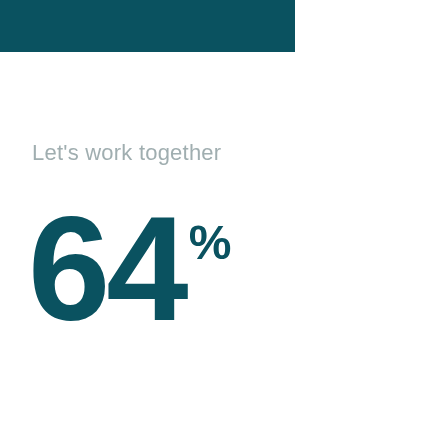[Figure (infographic): Teal/dark cyan horizontal bar at top of page, spanning approximately 2/3 of the page width]
Let's work together
64%